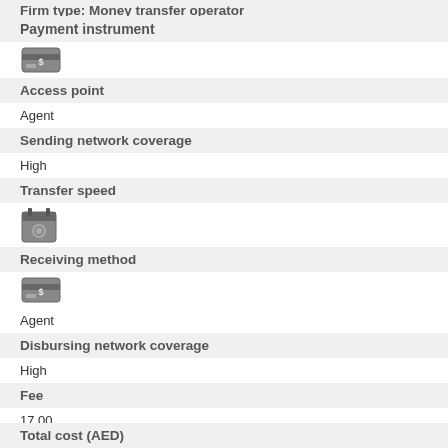Payment instrument
[Figure (illustration): Payment instrument icon - cash/dollar card icon]
Access point
Agent
Sending network coverage
High
Transfer speed
[Figure (illustration): Calendar/clock icon representing transfer speed]
Receiving method
[Figure (illustration): Receiving method icon - cash/dollar card icon]
Agent
Disbursing network coverage
High
Fee
17.00
Exchange rate margin (%)
0.75 Percentage difference between market reference rate 21.23 and exchange rate charged 21.07
Total cost (%)
3.06
Total cost (AED)